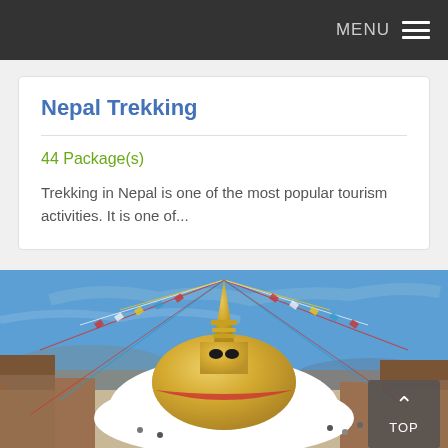MENU
Nepal Trekking
44 Package(s)
Trekking in Nepal is one of the most popular tourism activities. It is one of...
[Figure (photo): Aerial view of Boudhanath Stupa in Kathmandu, Nepal, with prayer flags radiating from the golden spire against a blue sky, surrounded by buildings and a courtyard with visitors.]